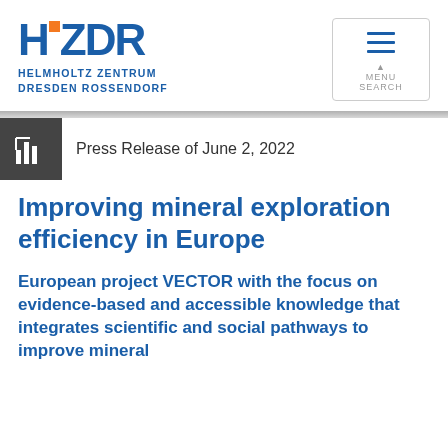[Figure (logo): HZDR logo with orange square, blue letters HZDR, and text HELMHOLTZ ZENTRUM DRESDEN ROSSENDORF]
[Figure (other): Navigation menu button with hamburger icon and MENU SEARCH labels]
Press Release of June 2, 2022
Improving mineral exploration efficiency in Europe
European project VECTOR with the focus on evidence-based and accessible knowledge that integrates scientific and social pathways to improve mineral